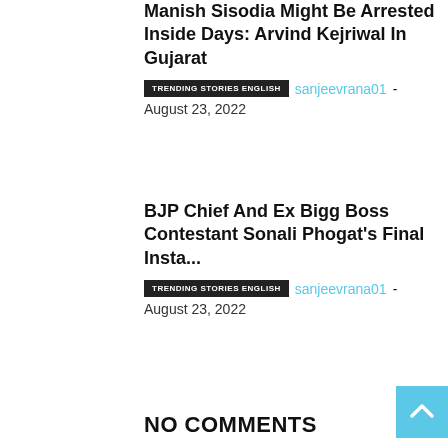Manish Sisodia Might Be Arrested Inside Days: Arvind Kejriwal In Gujarat
TRENDING STORIES ENGLISH  sanjeevrana01 - August 23, 2022
BJP Chief And Ex Bigg Boss Contestant Sonali Phogat's Final Insta...
TRENDING STORIES ENGLISH  sanjeevrana01 - August 23, 2022
NO COMMENTS